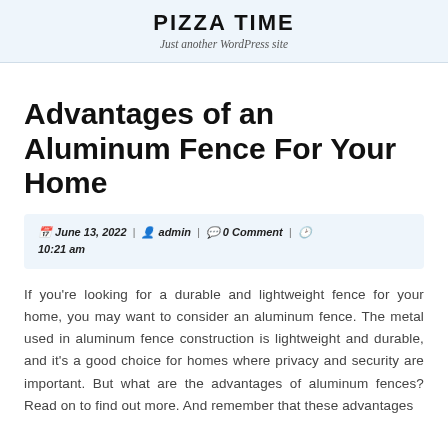PIZZA TIME
Just another WordPress site
Advantages of an Aluminum Fence For Your Home
June 13, 2022 | admin | 0 Comment | 10:21 am
If you're looking for a durable and lightweight fence for your home, you may want to consider an aluminum fence. The metal used in aluminum fence construction is lightweight and durable, and it's a good choice for homes where privacy and security are important. But what are the advantages of aluminum fences? Read on to find out more. And remember that these advantages